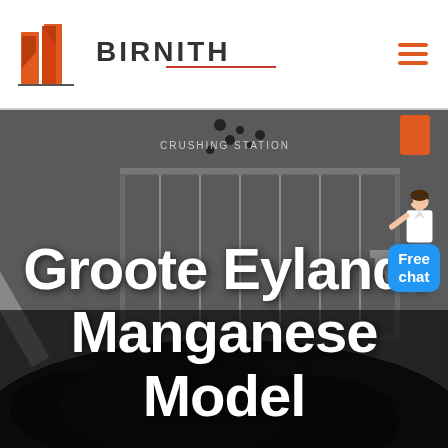[Figure (logo): Birnith company logo with orange building/tower icon and red underline beneath brand name]
Groote Eylandt Manganese Model
[Figure (photo): Industrial crushing station machinery with conveyor belts and piled manganese ore, dark moody photograph]
[Figure (other): Free chat button with customer service representative illustration and blue speech bubble saying 'Free chat']